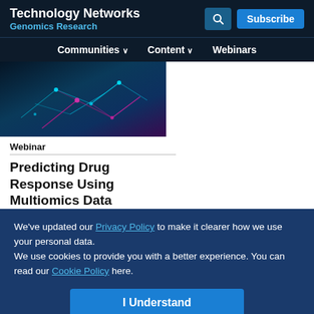Technology Networks Genomics Research
[Figure (screenshot): Website navigation bar with Communities, Content, Webinars menu items]
[Figure (photo): Abstract network visualization with teal and pink/magenta glowing lines on dark background]
Webinar
Predicting Drug Response Using Multiomics Data
We've updated our Privacy Policy to make it clearer how we use your personal data.
We use cookies to provide you with a better experience. You can read our Cookie Policy here.
I Understand
Advertisement
[Figure (screenshot): Bio-Rad advertisement banner: Automate with confidence. BIO-RAD logo on green background with microplate image]